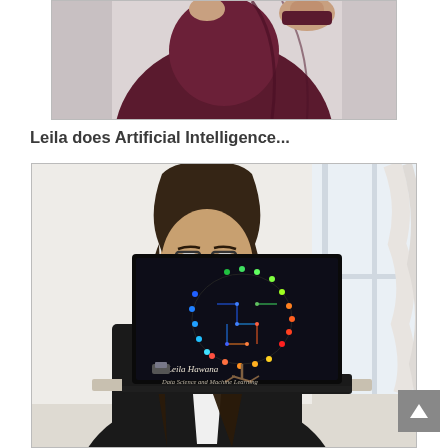[Figure (photo): Cropped photo of a person in a dark burgundy/maroon skirt and top, showing the midsection/waist area, against a light background.]
Leila does Artificial Intelligence...
[Figure (photo): Photo of a woman (Leila Hawana) smiling, wearing glasses and a black blazer with white shirt, sitting at a table holding a laptop open. The laptop screen shows a colorful neural-brain circuit logo with text 'Leila Hawana - Data Science and Machine Learning'. Background has a bright window with curtains.]